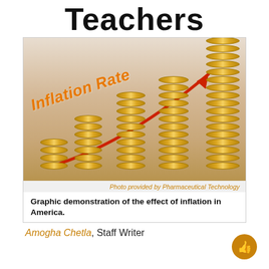Teachers
[Figure (photo): Photo of stacked coins of increasing height with 'Inflation Rate' text and an upward orange/red arrow, illustrating increasing inflation. Photo provided by Pharmaceutical Technology.]
Graphic demonstration of the effect of inflation in America.
Amogha Chetla, Staff Writer